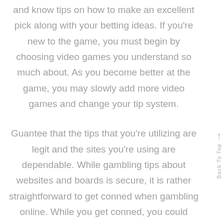and know tips on how to make an excellent pick along with your betting ideas. If you're new to the game, you must begin by choosing video games you understand so much about. As you become better at the game, you may slowly add more video games and change your tip system.
Guantee that the tips that you're utilizing are legit and the sites you're using are dependable. While gambling tips about websites and boards is secure, it is rather straightforward to get conned when gambling online. While you get conned, you could possibly end up dropping all of your